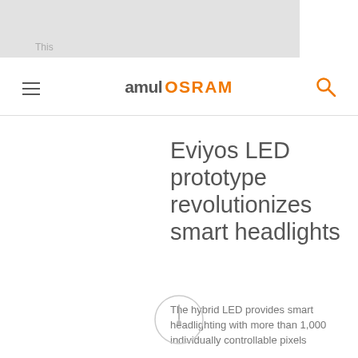ams OSRAM
Eviyos LED prototype revolutionizes smart headlights
The hybrid LED provides smart headlighting with more than 1,000 individually controllable pixels
25.09.2017 | Trade Press
[Figure (logo): Circular icon/logo placeholder at bottom center]